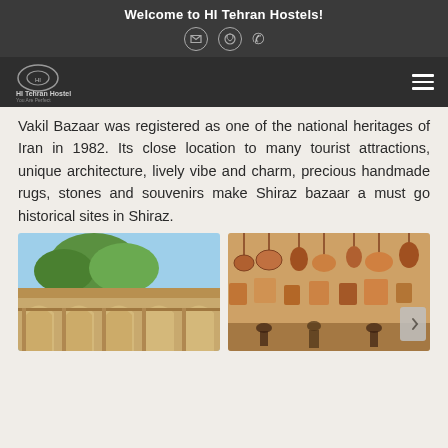Welcome to HI Tehran Hostels!
Vakil Bazaar was registered as one of the national heritages of Iran in 1982. Its close location to many tourist attractions, unique architecture, lively vibe and charm, precious handmade rugs, stones and souvenirs make Shiraz bazaar a must go historical sites in Shiraz.
[Figure (photo): Photo of Vakil Bazaar exterior with arched architecture and trees]
[Figure (photo): Photo of hanging copper pots and crafts in a bazaar shop]